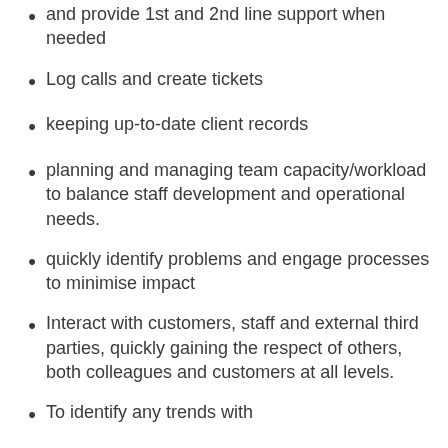and provide 1st and 2nd line support when needed
Log calls and create tickets
keeping up-to-date client records
planning and managing team capacity/workload to balance staff development and operational needs.
quickly identify problems and engage processes to minimise impact
Interact with customers, staff and external third parties, quickly gaining the respect of others, both colleagues and customers at all levels.
To identify any trends with